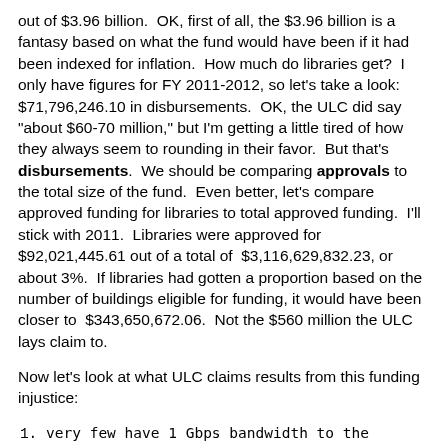out of $3.96 billion. OK, first of all, the $3.96 billion is a fantasy based on what the fund would have been if it had been indexed for inflation. How much do libraries get? I only have figures for FY 2011-2012, so let's take a look: $71,796,246.10 in disbursements. OK, the ULC did say "about $60-70 million," but I'm getting a little tired of how they always seem to rounding in their favor. But that's disbursements. We should be comparing approvals to the total size of the fund. Even better, let's compare approved funding for libraries to total approved funding. I'll stick with 2011. Libraries were approved for $92,021,445.61 out of a total of $3,116,629,832.23, or about 3%. If libraries had gotten a proportion based on the number of buildings eligible for funding, it would have been closer to $343,650,672.06. Not the $560 million the ULC lays claim to.
Now let's look at what ULC claims results from this funding injustice:
very few have 1 Gbps bandwidth to the building
That's a cause, not an effect. If more libraries chose to